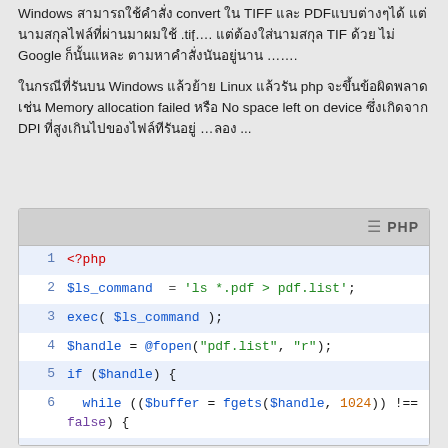Windows สามารถใช้คำสั่ง convert ใน TIFF และ PDFแบบต่างๆได้ แต่นามสกุลไฟล์ที่ผ่านมาผมใช้ .tifฺ…. แต่ต้องใส่นามสกุล TIF ด้วย ไม่ Google ก็นั้นแหละ ตามหาคำสั่งนันอยู่นาน …….
ในกรณีที่รันบน Windows แล้วย้าย Linux แล้วรัน php จะขึ้นข้อผิดพลาด เช่น Memory allocation failed หรือ No space left on device ซึ่งเกิดจาก DPI ที่สูงเกินไปของไฟล์ทีรันอยู่ …ลอง ...
[Figure (screenshot): PHP code block showing lines 1-10 of a PHP script that lists PDF files, opens pdf.list, reads buffer with fgets, extracts filename parts with explode, and begins a gs command.]